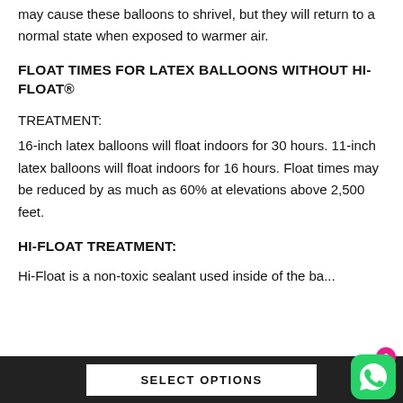may cause these balloons to shrivel, but they will return to a normal state when exposed to warmer air.
FLOAT TIMES FOR LATEX BALLOONS WITHOUT HI-FLOAT®
TREATMENT:
16-inch latex balloons will float indoors for 30 hours. 11-inch latex balloons will float indoors for 16 hours. Float times may be reduced by as much as 60% at elevations above 2,500 feet.
HI-FLOAT TREATMENT:
Hi-Float is a non-toxic sealant used inside of the ba...
SELECT OPTIONS